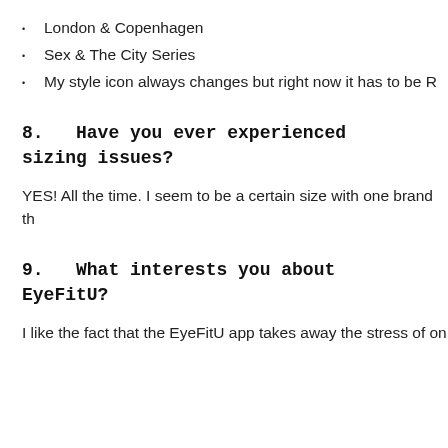London & Copenhagen
Sex & The City Series
My style icon always changes but right now it has to be R
8.  Have you ever experienced sizing issues?
YES! All the time. I seem to be a certain size with one brand th
9.  What interests you about EyeFitU?
I like the fact that the EyeFitU app takes away the stress of on